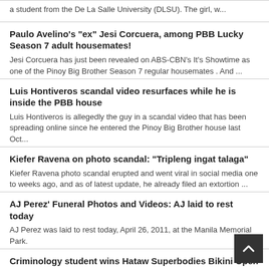a student from the De La Salle University (DLSU). The girl, w...
Paulo Avelino's "ex" Jesi Corcuera, among PBB Lucky Season 7 adult housemates!
Jesi Corcuera has just been revealed on ABS-CBN's It's Showtime as one of the Pinoy Big Brother Season 7 regular housemates . And ...
Luis Hontiveros scandal video resurfaces while he is inside the PBB house
Luis Hontiveros is allegedly the guy in a scandal video that has been spreading online since he entered the Pinoy Big Brother house last Oct...
Kiefer Ravena on photo scandal: "Tripleng ingat talaga"
Kiefer Ravena photo scandal erupted and went viral in social media one to weeks ago, and as of latest update, he already filed an extortion ...
AJ Perez' Funeral Photos and Videos: AJ laid to rest today
AJ Perez was laid to rest today, April 26, 2011, at the Manila Memorial Park.
Criminology student wins Hataw Superbodies Bikini Open Year 5 contest
A Criminology student has won in the 5th Hataw Superbodies Bikini Open competition held last night, August 18, 2010, at the Metro Bar in QC....